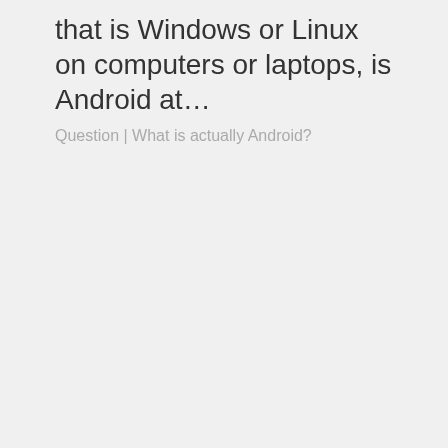that is Windows or Linux on computers or laptops, is Android at…
Question | What is actually Android?